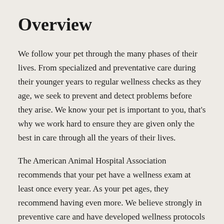Overview
We follow your pet through the many phases of their lives. From specialized and preventative care during their younger years to regular wellness checks as they age, we seek to prevent and detect problems before they arise. We know your pet is important to you, that's why we work hard to ensure they are given only the best in care through all the years of their lives.
The American Animal Hospital Association recommends that your pet have a wellness exam at least once every year. As your pet ages, they recommend having even more. We believe strongly in preventive care and have developed wellness protocols for every stage of the life